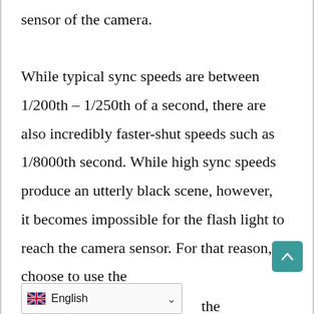sensor of the camera.

While typical sync speeds are between 1/200th – 1/250th of a second, there are also incredibly faster-shut speeds such as 1/8000th second. While high sync speeds produce an utterly black scene, however, it becomes impossible for the flash light to reach the camera sensor. For that reason, choose to use the m[...]d to make the